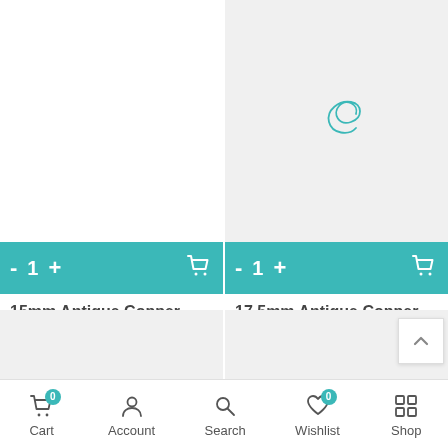[Figure (screenshot): Product listing grid showing two antique copper buttons with add-to-cart controls and pricing]
15mm Antique Copper Bee Button By TierraCast - TC02888
$1.39
17.5mm Antique Copper Swirl Button By TierraCast - TC02283
$1.19
Cart 0  Account  Search  Wishlist 0  Shop